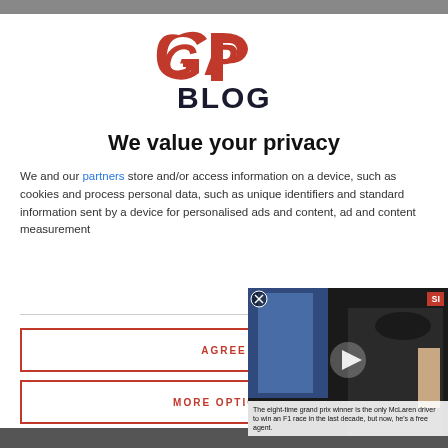[Figure (logo): GPBlog logo — red stylized 'GP' letters above bold dark 'BLOG' text]
We value your privacy
We and our partners store and/or access information on a device, such as cookies and process personal data, such as unique identifiers and standard information sent by a device for personalised ads and content, ad and content measurement
[Figure (photo): Video thumbnail showing a racing driver holding a trophy, with caption: The eight-time grand prix winner is the only McLaren driver to win an F1 race in the last decade, but now, he's a free agent. SI badge in top right corner.]
AGREE
MORE OPTIONS